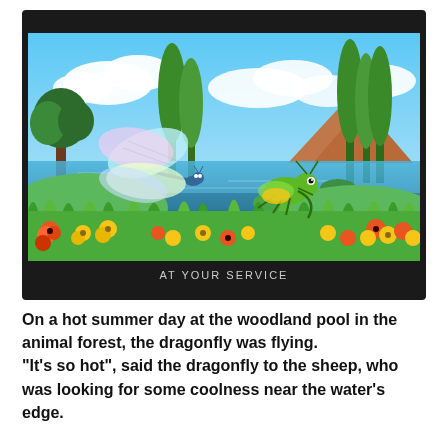[Figure (illustration): Cartoon illustration of a woodland pond scene with a dragonfly on the left side flying near colorful flowers, and a green grasshopper sitting on a lily pad in the water. Background shows blue sky with clouds, green trees including tall cypress trees, brown mountains, and a blue lake. Orange and yellow flowers in the foreground.]
AT YOUR SERVICE
On a hot summer day at the woodland pool in the animal forest, the dragonfly was flying.
"It's so hot", said the dragonfly to the sheep, who was looking for some coolness near the water's edge.